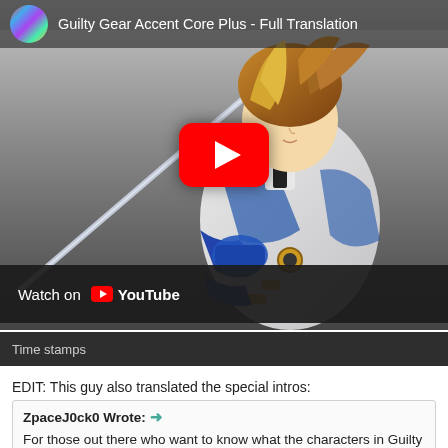[Figure (screenshot): YouTube video thumbnail for 'Guilty Gear Accent Core Plus - Full Translation' showing an anime character (Ky Kiske) in white and blue outfit holding a sword, with a red YouTube play button in the center and a channel avatar in the top left]
Watch on YouTube
Time stamps
EDIT: This guy also translated the special intros:
ZpaceJ0ck0 Wrote: →
For those out there who want to know what the characters in Guilty